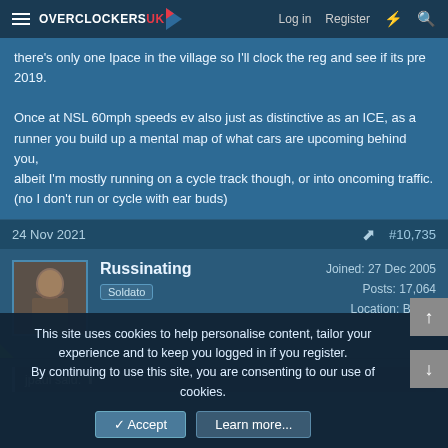Overclockers UK — Log in | Register
there's only one Ipace in the village so I'll clock the reg and see if its pre 2019.

Once at NSL 60mph speeds ev also just as distinctive as an ICE, as a runner you build up a mental map of what cars are upcoming behind you,
although I'm mostly running on a cycle track though, or into oncoming traffic.
(no I don't run or cycle with ear buds)
24 Nov 2021   #10,735
Russinating
Soldato
Joined: 27 Dec 2005
Posts: 17,064
Location: Bristol
jpaul said:
This site uses cookies to help personalise content, tailor your experience and to keep you logged in if you register.
By continuing to use this site, you are consenting to our use of cookies.